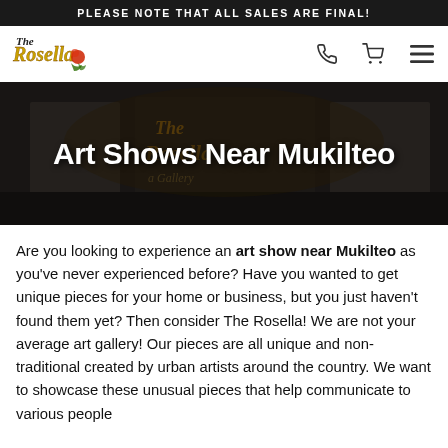PLEASE NOTE THAT ALL SALES ARE FINAL!
[Figure (logo): The Rosella logo with decorative script lettering and a rose illustration]
[Figure (infographic): Navigation bar with phone icon, shopping cart icon, and hamburger menu icon]
[Figure (photo): Dark storefront photo showing The Rosella gallery signage as a hero banner]
Art Shows Near Mukilteo
Are you looking to experience an art show near Mukilteo as you've never experienced before? Have you wanted to get unique pieces for your home or business, but you just haven't found them yet? Then consider The Rosella! We are not your average art gallery! Our pieces are all unique and non-traditional created by urban artists around the country. We want to showcase these unusual pieces that help communicate to various people